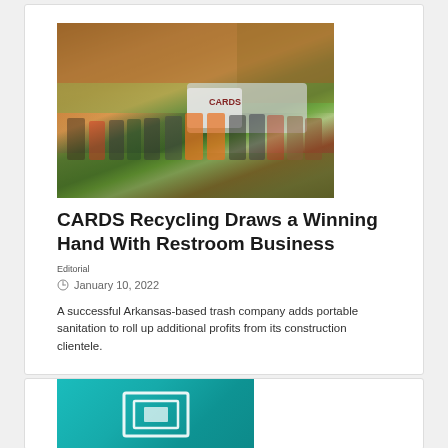[Figure (photo): Group photo of CARDS Recycling employees standing outdoors in front of a truck with fall foliage trees in background]
CARDS Recycling Draws a Winning Hand With Restroom Business
Editorial
January 10, 2022
A successful Arkansas-based trash company adds portable sanitation to roll up additional profits from its construction clientele.
[Figure (illustration): Teal/turquoise colored banner with white icon graphic]